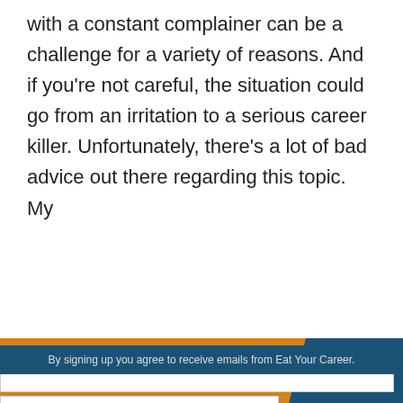with a constant complainer can be a challenge for a variety of reasons. And if you're not careful, the situation could go from an irritation to a serious career killer. Unfortunately, there's a lot of bad advice out there regarding this topic. My
[Figure (infographic): A popup/modal banner advertising FREE WEBINARS with orange and dark blue background. Contains fields for Your Name and Your Email Address, a SIGN UP NOW button in red, and footer text 'By signing up you agree to receive emails from Eat Your Career.' A close (×) button is in the top right.]
By signing up you agree to receive emails from Eat Your Career.